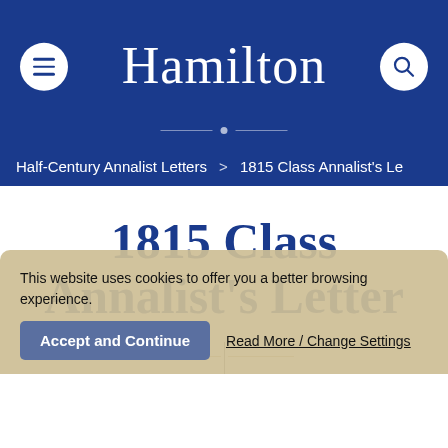Hamilton
Half-Century Annalist Letters > 1815 Class Annalist's Le
1815 Class Annalist's Letter
This website uses cookies to offer you a better browsing experience.
Accept and Continue
Read More / Change Settings